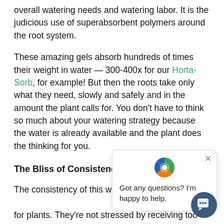overall watering needs and watering labor. It is the judicious use of superabsorbent polymers around the root system.
These amazing gels absorb hundreds of times their weight in water — 300-400x for our Horta-Sorb, for example! But then the roots take only what they need, slowly and safely and in the amount the plant calls for. You don't have to think so much about your watering strategy because the water is already available and the plant does the thinking for you.
The Bliss of Consistency
The consistency of this w... for plants. They're not stressed by receiving too little, and not damaged by getting too much. And meanwhile... polymers are doing the labor.
W... (partially visible at bottom)
[Figure (screenshot): Chat popup widget with recycling/leaf logo icon, close button, and text 'Got any questions? I'm happy to help.' Also a dark blue circular chat button in the bottom right corner.]